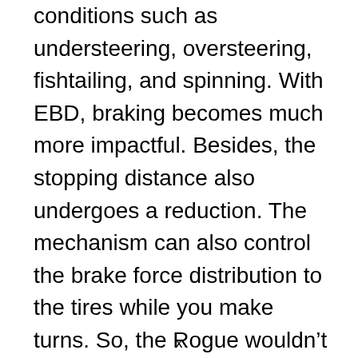conditions such as understeering, oversteering, fishtailing, and spinning. With EBD, braking becomes much more impactful. Besides, the stopping distance also undergoes a reduction. The mechanism can also control the brake force distribution to the tires while you make turns. So, the Rogue wouldn’t dangerously lean to one side and roll.
x